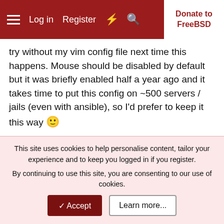Log in  Register  Donate to FreeBSD
try without my vim config file next time this happens. Mouse should be disabled by default but it was briefly enabled half a year ago and it takes time to put this config on ~500 servers / jails (even with ansible), so I'd prefer to keep it this way 🙂
ShellLuser: I can paste the same content in every vim file that it happened to with 'p', also this happens at random..
Jeckt: Thanks for this information, do you have a link to the old bug report? I'm using poudriere, but if this is a vim problem that doesn't goes away I might just switch to neovim
This site uses cookies to help personalise content, tailor your experience and to keep you logged in if you register.
By continuing to use this site, you are consenting to our use of cookies.